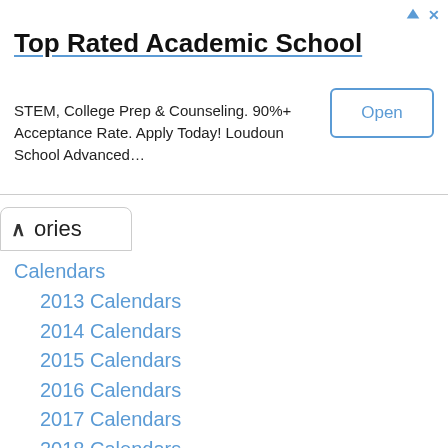[Figure (screenshot): Advertisement banner for Top Rated Academic School]
Top Rated Academic School
STEM, College Prep & Counseling. 90%+ Acceptance Rate. Apply Today! Loudoun School Advanced…
ories
Calendars
2013 Calendars
2014 Calendars
2015 Calendars
2016 Calendars
2017 Calendars
2018 Calendars
2019 Calendars
2020 Calendars
2021 Calendars
2022 Calendars
2023 Calendars
2024 Calendars
2025 Calendars